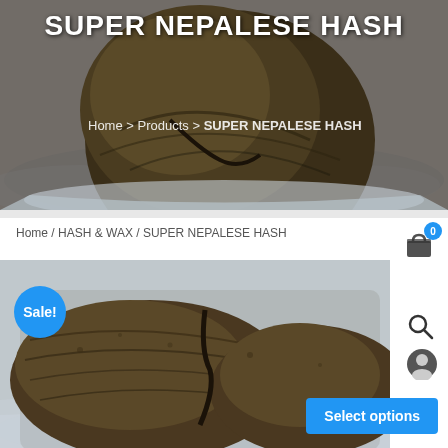[Figure (photo): Top banner photo of Nepalese hash ball on plastic wrap with page title overlay]
SUPER NEPALESE HASH
Home > Products > SUPER NEPALESE HASH
Home / HASH & WAX / SUPER NEPALESE HASH
[Figure (photo): Product photo of broken Nepalese hash chunk on plastic wrap with Sale badge and Select options button overlay]